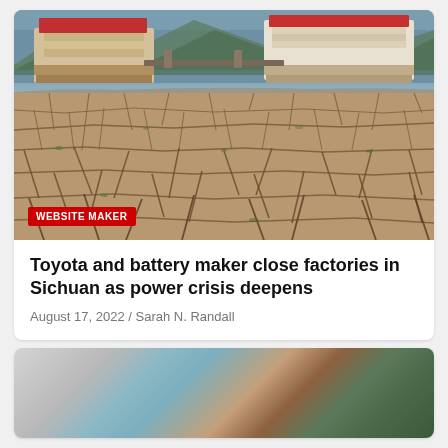[Figure (photo): Photo of a dried, cracked riverbed with boats docked in the background on a river, mountains visible in the far background. A 'WEBSITE MAKER' badge overlays the bottom-left corner of the image.]
Toyota and battery maker close factories in Sichuan as power crisis deepens
August 17, 2022 / Sarah N. Randall
[Figure (photo): Partially visible photo at bottom of page, showing blurred interior scene with geometric shapes and colors including teal, brown, and green.]